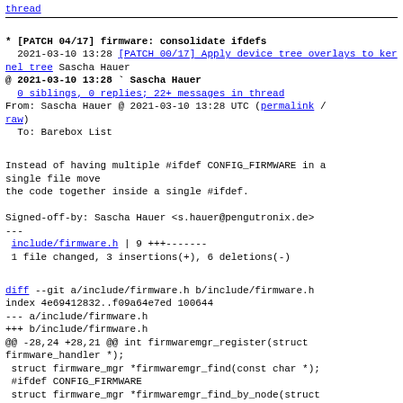thread
* [PATCH 04/17] firmware: consolidate ifdefs
  2021-03-10 13:28 [PATCH 00/17] Apply device tree overlays to kernel tree Sascha Hauer
@ 2021-03-10 13:28 ` Sascha Hauer
  0 siblings, 0 replies; 22+ messages in thread
From: Sascha Hauer @ 2021-03-10 13:28 UTC (permalink / raw)
  To: Barebox List
Instead of having multiple #ifdef CONFIG_FIRMWARE in a single file move
the code together inside a single #ifdef.

Signed-off-by: Sascha Hauer <s.hauer@pengutronix.de>
---
 include/firmware.h | 9 +++-------
 1 file changed, 3 insertions(+), 6 deletions(-)
diff --git a/include/firmware.h b/include/firmware.h
index 4e69412832..f09a64e7ed 100644
--- a/include/firmware.h
+++ b/include/firmware.h
@@ -28,24 +28,21 @@ int firmwaremgr_register(struct firmware_handler *);
 struct firmware_mgr *firmwaremgr_find(const char *);
 #ifdef CONFIG_FIRMWARE
 struct firmware_mgr *firmwaremgr_find_by_node(struct
device_node *np);